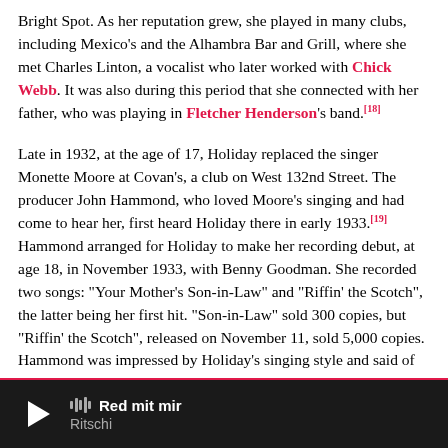Bright Spot. As her reputation grew, she played in many clubs, including Mexico's and the Alhambra Bar and Grill, where she met Charles Linton, a vocalist who later worked with Chick Webb. It was also during this period that she connected with her father, who was playing in Fletcher Henderson's band.[18]
Late in 1932, at the age of 17, Holiday replaced the singer Monette Moore at Covan's, a club on West 132nd Street. The producer John Hammond, who loved Moore's singing and had come to hear her, first heard Holiday there in early 1933.[19] Hammond arranged for Holiday to make her recording debut, at age 18, in November 1933, with Benny Goodman. She recorded two songs: "Your Mother's Son-in-Law" and "Riffin' the Scotch", the latter being her first hit. "Son-in-Law" sold 300 copies, but "Riffin' the Scotch", released on November 11, sold 5,000 copies. Hammond was impressed by Holiday's singing style and said of her, "Her singing almost changed my
Red mit mir | Ritschi